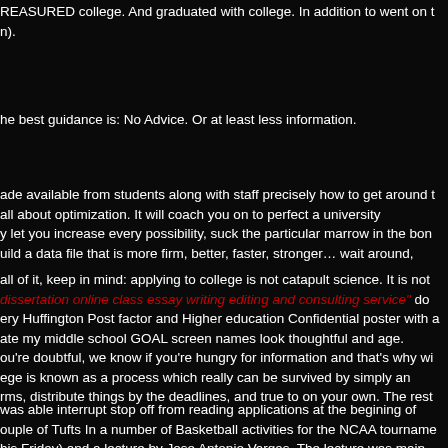REASURED college. And graduated with college. In addition to went on t n).
he best guidance is: No Advice. Or at least less information.
ade available from students along with staff precisely how to get around t all about optimization. It will coach you on to perfect a university y let you increase every possibility, suck the particular marrow in the bon uild a data file that is more firm, better, faster, stronger… wait around,
all of it, keep in mind: applying to college is not catapult science. It is not dissertation online class essay writing editing and consulting service" do ery Huffington Post factor and Higher education Confidential poster with a ate my middle school GOAL screen names look thoughtful and age.
ou're doubtful, we know if you're hungry for information and that's why wi ege is known as a process which really can be survived by simply an rms, distribute things by the deadlines, and true to on your own. The rest
was able interrupt stop off from reading applications at the begining of ouple of Tufts In a number of Basketball activities for the NCAA tourname his Friday) and a lecture by Jose Antonio Vargas. The lecture was main